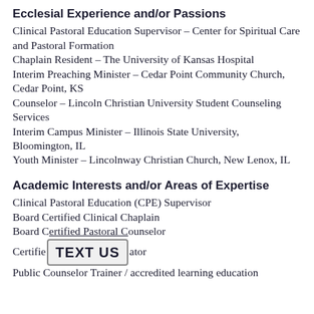Ecclesial Experience and/or Passions
Clinical Pastoral Education Supervisor – Center for Spiritual Care and Pastoral Formation
Chaplain Resident – The University of Kansas Hospital
Interim Preaching Minister – Cedar Point Community Church, Cedar Point, KS
Counselor – Lincoln Christian University Student Counseling Services
Interim Campus Minister – Illinois State University, Bloomington, IL
Youth Minister – Lincolnway Christian Church, New Lenox, IL
Academic Interests and/or Areas of Expertise
Clinical Pastoral Education (CPE) Supervisor
Board Certified Clinical Chaplain
Board Certified Pastoral Counselor
Certified [TEXT US overlay] ator
Public Counselor Trainer / accredited training education...